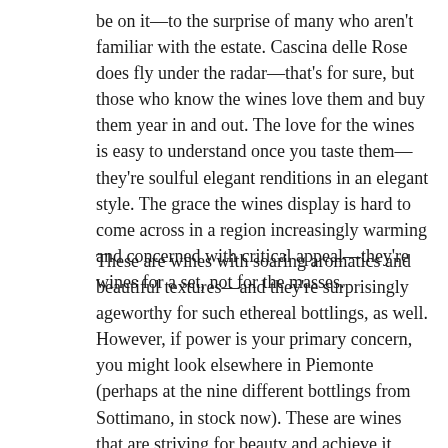be on it—to the surprise of many who aren't familiar with the estate.  Cascina delle Rose does fly under the radar—that's for sure, but those who know the wines love them and buy them year in and out.  The love for the wines is easy to understand once you taste them—they're soulful elegant renditions in an elegant style.  The grace the wines display is hard to come across in a region increasingly warming and concerned with critical appeal—they're wines for a set, not for the masses.
These are wines with soaring aromatics and beautiful textures—and they're surprisingly ageworthy for such ethereal bottlings, as well. However, if power is your primary concern, you might look elsewhere in Piemonte (perhaps at the nine different bottlings from Sottimano, in stock now).  These are wines that are striving for beauty and achieve it without sacrificing their drinkability and the ability to satisfy.  The winemaking here is extremely traditional, verging on natural and the